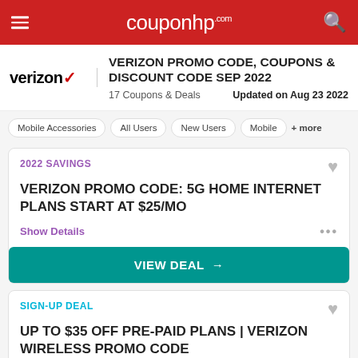couponhp.com
VERIZON PROMO CODE, COUPONS & DISCOUNT CODE SEP 2022
17 Coupons & Deals   Updated on Aug 23 2022
Mobile Accessories
All Users
New Users
Mobile
+ more
2022 SAVINGS
VERIZON PROMO CODE: 5G HOME INTERNET PLANS START AT $25/MO
Show Details
VIEW DEAL →
SIGN-UP DEAL
UP TO $35 OFF PRE-PAID PLANS | VERIZON WIRELESS PROMO CODE
Show Details